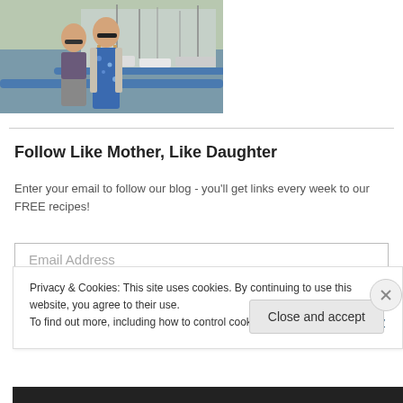[Figure (photo): Two women standing outdoors at a marina/harbour with boats in the background. They are wearing sunglasses. One in patterned scarf and grey pants, one in blue floral dress.]
Follow Like Mother, Like Daughter
Enter your email to follow our blog - you'll get links every week to our FREE recipes!
Email Address
Privacy & Cookies: This site uses cookies. By continuing to use this website, you agree to their use.
To find out more, including how to control cookies, see here: Cookie Policy
Close and accept